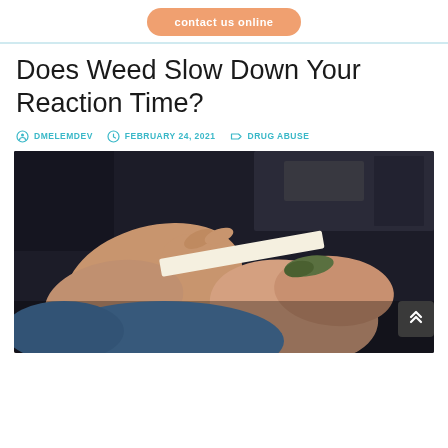[Figure (other): Orange rounded button with text 'contact us online']
Does Weed Slow Down Your Reaction Time?
DMELEMDEV  FEBRUARY 24, 2021  DRUG ABUSE
[Figure (photo): Close-up photo of hands rolling a marijuana joint inside a car, with dark dashboard visible in background]